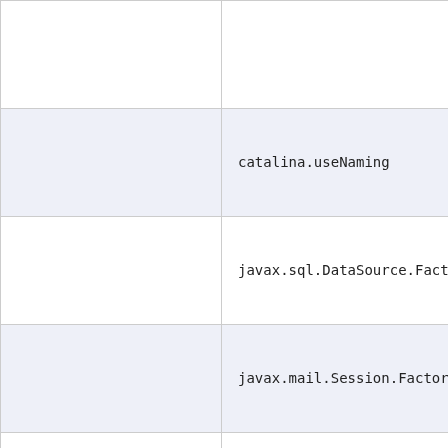|  |  |
| --- | --- |
|  |  |
|  | catalina.useNaming |
|  | javax.sql.DataSource.Factory |
|  | javax.mail.Session.Factory |
|  | jvmRoute |